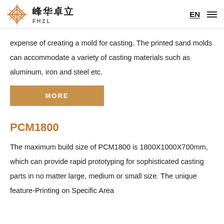峰华卓立 FHZL | EN ☰
expense of creating a mold for casting. The printed sand molds can accommodate a variety of casting materials such as aluminum, iron and steel etc.
[Figure (other): Orange button labeled MORE]
PCM1800
The maximum build size of PCM1800 is 1800X1000X700mm, which can provide rapid prototyping for sophisticated casting parts in no matter large, medium or small size. The unique feature-Printing on Specific Area